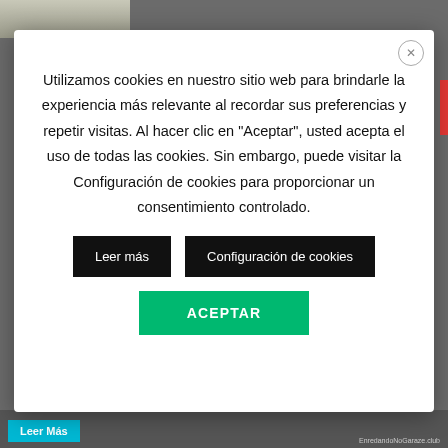[Figure (screenshot): Website screenshot with a cookie consent modal dialog overlay on a dark background. A small photo thumbnail is visible at the top left. A red accent bar on the right side. A cyan 'Leer Más' button at the bottom left and watermark text at the bottom right.]
Utilizamos cookies en nuestro sitio web para brindarle la experiencia más relevante al recordar sus preferencias y repetir visitas. Al hacer clic en "Aceptar", usted acepta el uso de todas las cookies. Sin embargo, puede visitar la Configuración de cookies para proporcionar un consentimiento controlado.
Leer más
Configuración de cookies
ACEPTAR
Leer Más
EnredandoNoGaraze.club